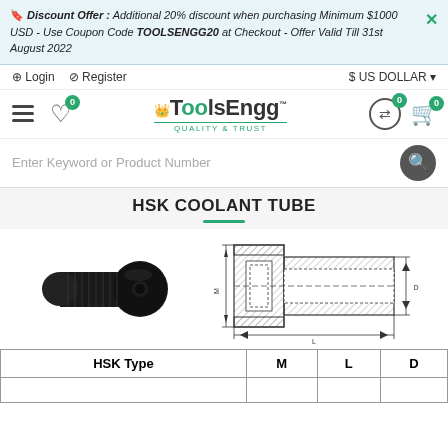🔖 Discount Offer : Additional 20% discount when purchasing Minimum $1000 USD - Use Coupon Code TOOLSENGG20 at Checkout - Offer Valid Till 31st August 2022
Login   Register   $ US DOLLAR
[Figure (logo): ToolsEngg logo with crown icon and tagline QUALITY & TRUST in green]
Enter Keyword or Product Number
HSK COOLANT TUBE
[Figure (photo): Photo of black HSK coolant tube screw component]
[Figure (engineering-diagram): Technical engineering cross-section diagram of HSK coolant tube showing dimensions M, L, D]
| HSK Type | M | L | D |
| --- | --- | --- | --- |